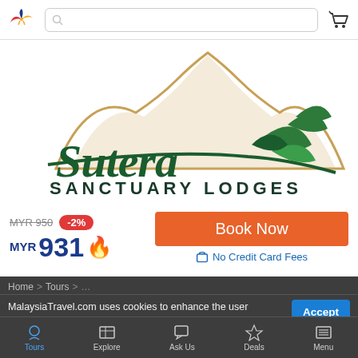MalaysiaTravel.com — Search bar and cart icon
[Figure (logo): Sutera Sanctuary Lodges logo with mountain illustration and green leaf motif]
MYR 950  -2%
MYR 931 🔥
Book Now
🏠 No Credit Card Fees
Home > Tours
MalaysiaTravel.com uses cookies to enhance the user experience. By continuing to use our service, you agree to our Privacy Policy and our cookies usage.
Accept
Sutera Sanctuary Lodges At Mount Kina…
Tours  Explore  Ask Us  Deals  Menu